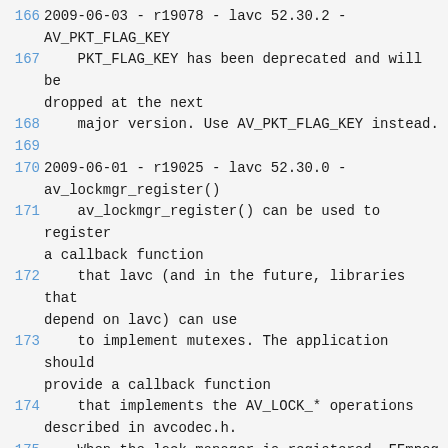166 2009-06-03 - r19078 - lavc 52.30.2 - AV_PKT_FLAG_KEY
167     PKT_FLAG_KEY has been deprecated and will be dropped at the next
168     major version. Use AV_PKT_FLAG_KEY instead.
169
170 2009-06-01 - r19025 - lavc 52.30.0 - av_lockmgr_register()
171     av_lockmgr_register() can be used to register a callback function
172     that lavc (and in the future, libraries that depend on lavc) can use
173     to implement mutexes. The application should provide a callback function
174     that implements the AV_LOCK_* operations described in avcodec.h.
175     When the lock manager is registered, FFmpeg is guaranteed to behave
176     correctly in a multi-threaded application.
177
178 2009-04-30 - r18719 - lavc 52.28.0 - av_free_packet
179     av_free_packet() is no longer an inline function. It is now exported.
180